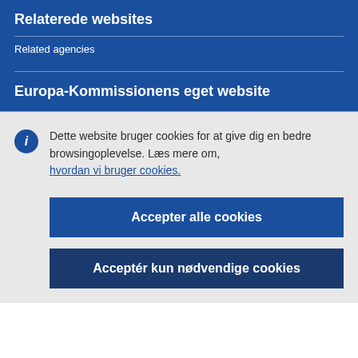Relaterede websites
Related agencies
Europa-Kommissionens eget website
Dette website bruger cookies for at give dig en bedre browsingoplevelse. Læs mere om, hvordan vi bruger cookies.
Accepter alle cookies
Acceptér kun nødvendige cookies